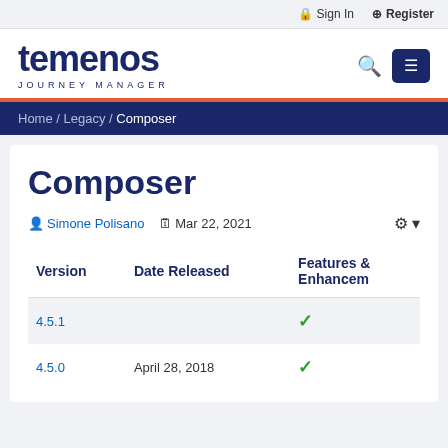Sign In  Register
[Figure (logo): Temenos Journey Manager logo with search and menu icons]
Home /  Legacy /  Composer
Composer
Simone Polisano  Mar 22, 2021
| Version | Date Released | Features & Enhancements |
| --- | --- | --- |
| 4.5.1 |  | ✓ |
| 4.5.0 | April 28, 2018 | ✓ |